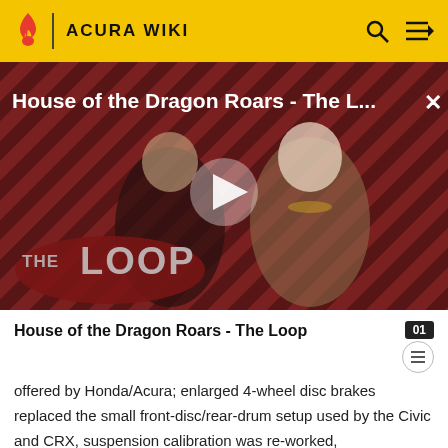ACURA WIKI
[Figure (screenshot): Video thumbnail showing two characters from House of the Dragon on a red diagonal striped background with THE LOOP logo overlay and a white play button in the center. Title text reads: House of the Dragon Roars - The L...]
House of the Dragon Roars - The Loop
offered by Honda/Acura; enlarged 4-wheel disc brakes replaced the small front-disc/rear-drum setup used by the Civic and CRX, suspension calibration was re-worked,